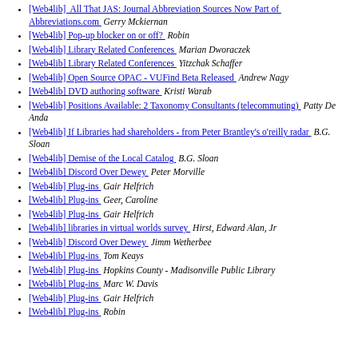[Web4lib]  All That JAS: Journal Abbreviation Sources Now Part of  Abbreviations.com  Gerry Mckiernan
[Web4lib] Pop-up blocker on or off?  Robin
[Web4lib] Library Related Conferences  Marian Dworaczek
[Web4lib] Library Related Conferences  Yitzchak Schaffer
[Web4lib] Open Source OPAC - VUFind Beta Released  Andrew Nagy
[Web4lib] DVD authoring software  Kristi Warab
[Web4lib] Positions Available: 2 Taxonomy Consultants (telecommuting)  Patty De Anda
[Web4lib] If Libraries had shareholders - from Peter Brantley's o'reilly radar  B.G. Sloan
[Web4lib] Demise of the Local Catalog  B.G. Sloan
[Web4lib] Discord Over Dewey  Peter Morville
[Web4lib] Plug-ins  Gair Helfrich
[Web4lib] Plug-ins  Geer, Caroline
[Web4lib] Plug-ins  Gair Helfrich
[Web4lib] libraries in virtual worlds survey  Hirst, Edward Alan, Jr
[Web4lib] Discord Over Dewey  Jimm Wetherbee
[Web4lib] Plug-ins  Tom Keays
[Web4lib] Plug-ins  Hopkins County - Madisonville Public Library
[Web4lib] Plug-ins  Marc W. Davis
[Web4lib] Plug-ins  Gair Helfrich
[Web4lib] Plug-ins  Robin